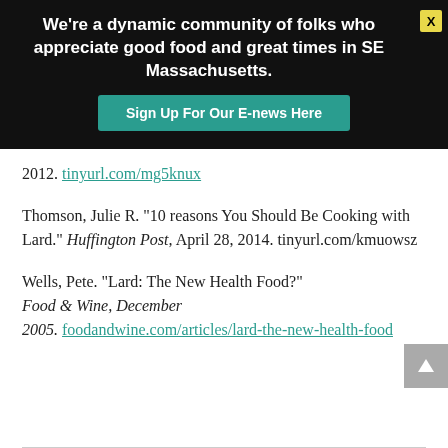We're a dynamic community of folks who appreciate good food and great times in SE Massachusetts.
Sign Up For Our E-news Here
2012. tinyurl.com/mg5knux
Thomson, Julie R. “10 reasons You Should Be Cooking with Lard.” Huffington Post, April 28, 2014. tinyurl.com/kmuowsz
Wells, Pete. “Lard: The New Health Food?” Food & Wine, December 2005. foodandwine.com/articles/lard-the-new-health-food